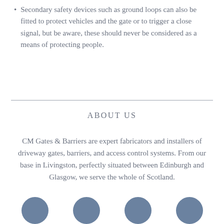Secondary safety devices such as ground loops can also be fitted to protect vehicles and the gate or to trigger a close signal, but be aware, these should never be considered as a means of protecting people.
ABOUT US
CM Gates & Barriers are expert fabricators and installers of driveway gates, barriers, and access control systems. From our base in Livingston, perfectly situated between Edinburgh and Glasgow, we serve the whole of Scotland.